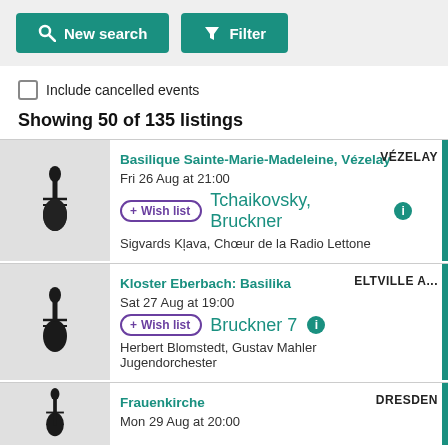[Figure (screenshot): Top bar with New search and Filter buttons on grey background]
Include cancelled events
Showing 50 of 135 listings
Basilique Sainte-Marie-Madeleine, Vézelay | VÉZELAY | Fri 26 Aug at 21:00 | Tchaikovsky, Bruckner | Sigvards Klava, Chœur de la Radio Lettone
Kloster Eberbach: Basilika | ELTVILLE A... | Sat 27 Aug at 19:00 | Bruckner 7 | Herbert Blomstedt, Gustav Mahler Jugendorchester
Frauenkirche | DRESDEN | Mon 29 Aug at 20:00